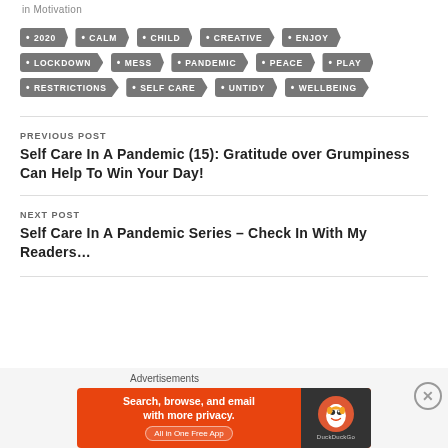in Motivation
2020 • CALM • CHILD • CREATIVE • ENJOY • LOCKDOWN • MESS • PANDEMIC • PEACE • PLAY • RESTRICTIONS • SELF CARE • UNTIDY • WELLBEING
PREVIOUS POST
Self Care In A Pandemic (15): Gratitude over Grumpiness Can Help To Win Your Day!
NEXT POST
Self Care In A Pandemic Series – Check In With My Readers…
Advertisements
[Figure (other): DuckDuckGo advertisement banner: Search, browse, and email with more privacy. All in One Free App]